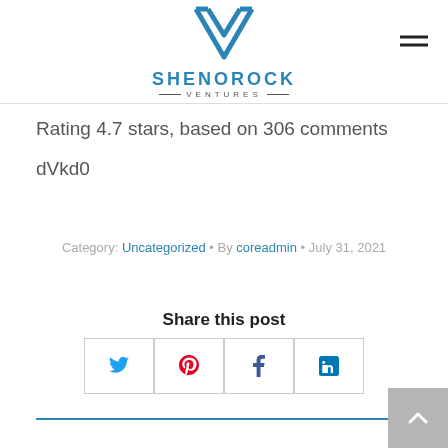[Figure (logo): Shenorock Ventures logo with blue geometric V shape and text SHENOROCK VENTURES]
Rating 4.7 stars, based on 306 comments
dVkd0
Category: Uncategorized • By coreadmin • July 31, 2021
Share this post
[Figure (infographic): Social share buttons for Twitter, Pinterest, Facebook, LinkedIn]